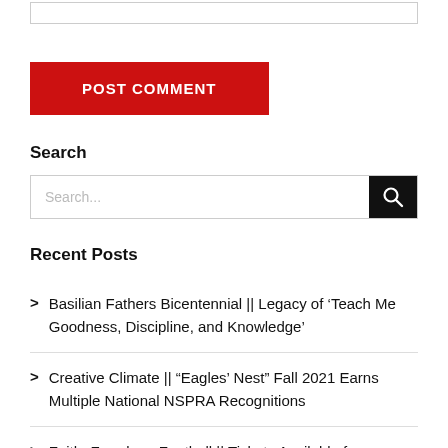[Figure (other): Input text area box (partial, top of page)]
POST COMMENT
Search
[Figure (other): Search input field with search button icon]
Recent Posts
Basilian Fathers Bicentennial || Legacy of ‘Teach Me Goodness, Discipline, and Knowledge’
Creative Climate || “Eagles’ Nest” Fall 2021 Earns Multiple National NSPRA Recognitions
Faith, Freedom, Football || Tickets Available for